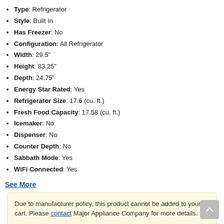Type: Refrigerator
Style: Built In
Has Freezer: No
Configuration: All Refrigerator
Width: 29.5"
Height: 83.25"
Depth: 24.75"
Energy Star Rated: Yes
Refrigerator Size: 17.6 (cu. ft.)
Fresh Food Capacity: 17.58 (cu. ft.)
Icemaker: No
Dispenser: No
Counter Depth: No
Sabbath Mode: Yes
WiFi Connected: Yes
See More
Due to manufacturer policy, this product cannot be added to your cart. Please contact Major Appliance Company for more details.
We currently only offer this product for purchase within 45 of our store.